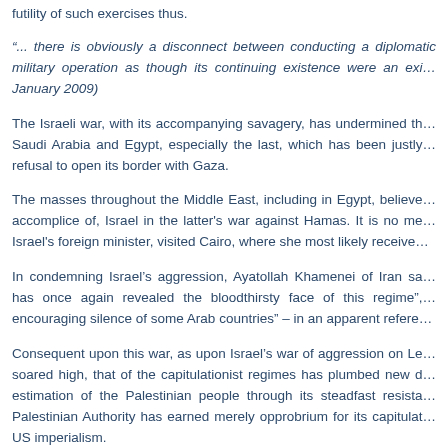futility of such exercises thus.
“... there is obviously a disconnect between conducting a diplomatic military operation as though its continuing existence were an exi… January 2009)
The Israeli war, with its accompanying savagery, has undermined th… Saudi Arabia and Egypt, especially the last, which has been justly… refusal to open its border with Gaza.
The masses throughout the Middle East, including in Egypt, believe… accomplice of, Israel in the latter's war against Hamas. It is no me… Israel's foreign minister, visited Cairo, where she most likely receive…
In condemning Israel’s aggression, Ayatollah Khamenei of Iran sa… has once again revealed the bloodthirsty face of this regime”,… encouraging silence of some Arab countries” – in an apparent refere…
Consequent upon this war, as upon Israel’s war of aggression on Le… soared high, that of the capitulationist regimes has plumbed new d… estimation of the Palestinian people through its steadfast resista… Palestinian Authority has earned merely opprobrium for its capitulat… US imperialism.
One day after Israel’s war against Gaza began, Sayed Hassa…